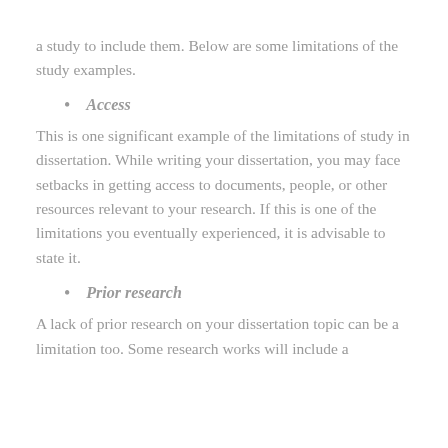a study to include them. Below are some limitations of the study examples.
Access
This is one significant example of the limitations of study in dissertation. While writing your dissertation, you may face setbacks in getting access to documents, people, or other resources relevant to your research. If this is one of the limitations you eventually experienced, it is advisable to state it.
Prior research
A lack of prior research on your dissertation topic can be a limitation too. Some research works will include a